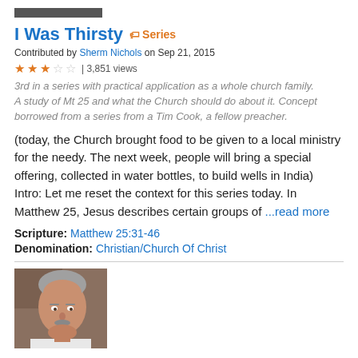[Figure (photo): Small cropped photo/banner at top of page]
I Was Thirsty  Series
Contributed by Sherm Nichols on Sep 21, 2015
★★★☆☆ | 3,851 views
3rd in a series with practical application as a whole church family. A study of Mt 25 and what the Church should do about it. Concept borrowed from a series from a Tim Cook, a fellow preacher.
(today, the Church brought food to be given to a local ministry for the needy. The next week, people will bring a special offering, collected in water bottles, to build wells in India) Intro: Let me reset the context for this series today. In Matthew 25, Jesus describes certain groups of ...read more
Scripture: Matthew 25:31-46
Denomination: Christian/Church Of Christ
[Figure (photo): Headshot photo of a middle-aged man with gray hair and mustache wearing a white shirt]